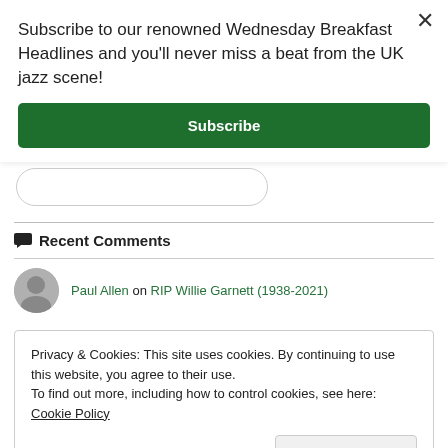Subscribe to our renowned Wednesday Breakfast Headlines and you'll never miss a beat from the UK jazz scene!
Subscribe
Recent Comments
Paul Allen on RIP Willie Garnett (1938-2021)
Privacy & Cookies: This site uses cookies. By continuing to use this website, you agree to their use.
To find out more, including how to control cookies, see here: Cookie Policy
Close and accept